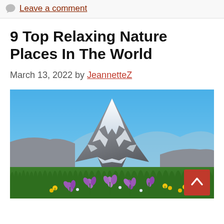Leave a comment
9 Top Relaxing Nature Places In The World
March 13, 2022 by JeannetteZ
[Figure (photo): Scenic photo of the Matterhorn mountain peak with snow, blue sky, and colorful wildflowers (crocus, yellow flowers) in the foreground meadow, with a back-to-top red button in the lower right corner.]